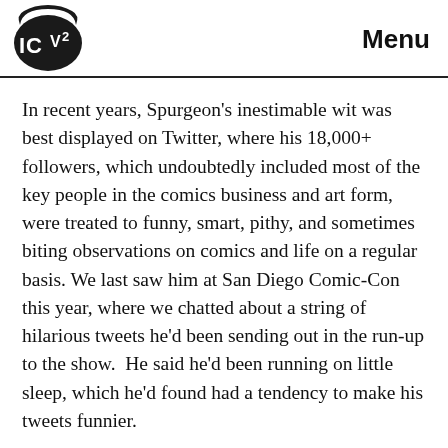ICV2  Menu
In recent years, Spurgeon's inestimable wit was best displayed on Twitter, where his 18,000+ followers, which undoubtedly included most of the key people in the comics business and art form, were treated to funny, smart, pithy, and sometimes biting observations on comics and life on a regular basis. We last saw him at San Diego Comic-Con this year, where we chatted about a string of hilarious tweets he'd been sending out in the run-up to the show.  He said he'd been running on little sleep, which he'd found had a tendency to make his tweets funnier.
The one we liked the best of those pre-San Diego tweets, which like many of his comments, captured the zeitgeist of the comics business in a single laugh-